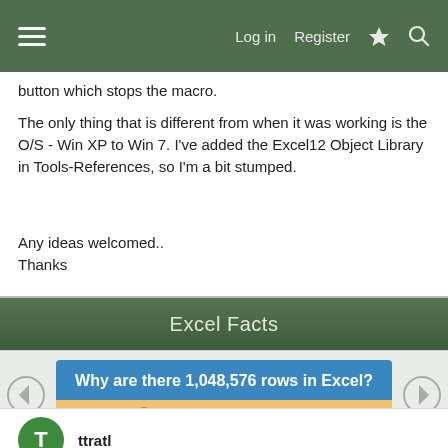Log in  Register
button which stops the macro.
The only thing that is different from when it was working is the O/S - Win XP to Win 7. I've added the Excel12 Object Library in Tools-References, so I'm a bit stumped.
Any ideas welcomed..
Thanks
Excel Facts
[Figure (infographic): Excel Facts card with question 'Why are there 1,048,576 rows in Excel?' and a 'Click here to reveal answer' button, with left and right navigation arrows]
ttratl